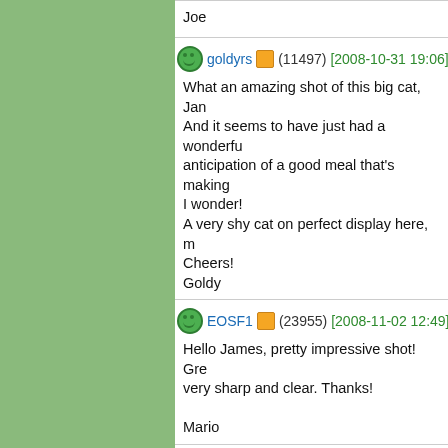Joe
goldyrs (11497) [2008-10-31 19:06]
What an amazing shot of this big cat, Jan... And it seems to have just had a wonderful... anticipation of a good meal that's making... I wonder!
A very shy cat on perfect display here, m...
Cheers!
Goldy
EOSF1 (23955) [2008-11-02 12:49]
Hello James, pretty impressive shot! Gre... very sharp and clear. Thanks!

Mario
vanderschelden (30441) [2008-11-07...
Hello James,
Excellent written material. That's the leop... I thought this was his tongue actually:-). L... very good but I prefer the crop. So, excel...
Thanks for sharing
Annick
winterpalace (0) [2010-11-13 22:14]
Hi James,